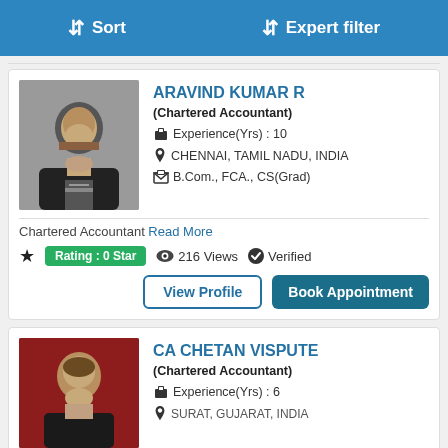Sort   Expert filter
ARAVIND KUMAR R
(Chartered Accountant)
Experience(Yrs) : 10
CHENNAI, TAMIL NADU, INDIA
B.Com., FCA., CS(Grad)
Chartered Accountant Read More
Rating : 0 Star  216 Views  Verified
View Profile  Book Appointment
CA CHETAN VISPUTE
(Chartered Accountant)
Experience(Yrs) : 6
SURAT, GUJARAT, INDIA